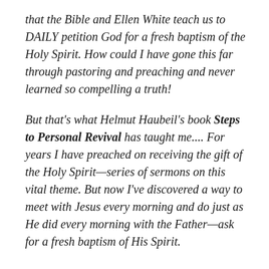that the Bible and Ellen White teach us to DAILY petition God for a fresh baptism of the Holy Spirit. How could I have gone this far through pastoring and preaching and never learned so compelling a truth!
But that's what Helmut Haubeil's book Steps to Personal Revival has taught me.... For years I have preached on receiving the gift of the Holy Spirit—series of sermons on this vital theme. But now I've discovered a way to meet with Jesus every morning and do just as He did every morning with the Father—ask for a fresh baptism of His Spirit.